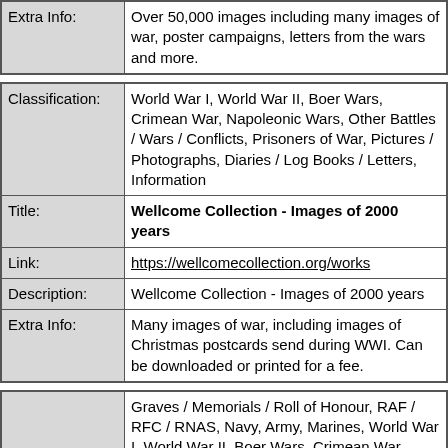| Field | Value |
| --- | --- |
| Extra Info: | Over 50,000 images including many images of war, poster campaigns, letters from the wars and more. |
| Field | Value |
| --- | --- |
| Classification: | World War I, World War II, Boer Wars, Crimean War, Napoleonic Wars, Other Battles / Wars / Conflicts, Prisoners of War, Pictures / Photographs, Diaries / Log Books / Letters, Information |
| Title: | Wellcome Collection - Images of 2000 years |
| Link: | https://wellcomecollection.org/works |
| Description: | Wellcome Collection - Images of 2000 years |
| Extra Info: | Many images of war, including images of Christmas postcards send during WWI. Can be downloaded or printed for a fee. |
| Field | Value |
| --- | --- |
| Classification: | Graves / Memorials / Roll of Honour, RAF / RFC / RNAS, Navy, Army, Marines, World War I, World War II, Boer Wars, Crimean War, Napoleonic Wars, Other Battles / Wars / Conflicts, Prisoners of War, Discharge / Pension Records, Officers' Records, Service Records, Pictures / Photographs, Diaries / Log Books / Letters, Other Sources |